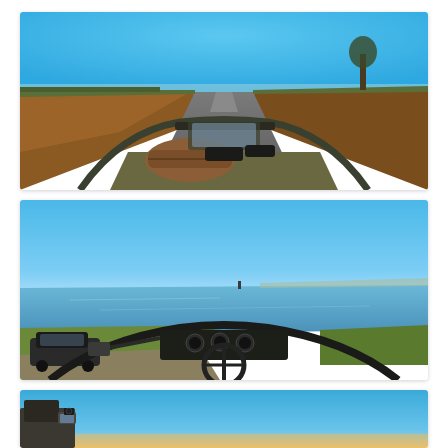[Figure (photo): Fisheye/wide-angle GoPro view from inside a vintage open-top military-style vehicle (possibly a Land Rover or similar 4x4), driving down a narrow straight country road flanked by brown ploughed fields and hedgerows under a clear blue sky. The vehicle's dashboard, roll bar, and a brown leather bag on the bonnet are visible in the foreground.]
[Figure (photo): Wide-angle/fisheye view from inside a vintage open-top vehicle parked near a coastal estuary or loch. A wide expanse of calm water stretches to the horizon under a clear blue sky. A parked dark car is visible to the left on a gravel area, and green grass lines the foreground. The vehicle's steering wheel, dashboard, and roll bar are visible at the bottom.]
[Figure (photo): Wide-angle view from inside a vintage open-top vehicle, showing a clear blue sky fading to lighter blue/orange near the horizon. The side mirror and part of the vehicle's body are visible in the lower left corner. The image is partially cropped at the bottom of the page.]